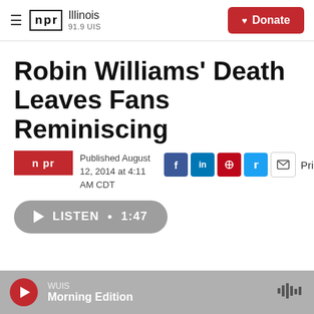NPR Illinois 91.9 UIS | Donate
Robin Williams' Death Leaves Fans Reminiscing
Published August 12, 2014 at 4:11 AM CDT
LISTEN • 1:47
WUIS Morning Edition